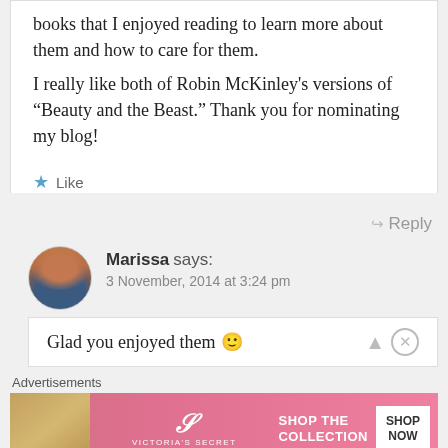books that I enjoyed reading to learn more about them and how to care for them. I really like both of Robin McKinley's versions of “Beauty and the Beast.” Thank you for nominating my blog!
★ Like
↳ Reply
Marissa says:
3 November, 2014 at 3:24 pm
Glad you enjoyed them 🙂
Advertisements
[Figure (photo): Victoria's Secret advertisement banner with model and 'SHOP THE COLLECTION / SHOP NOW' text]